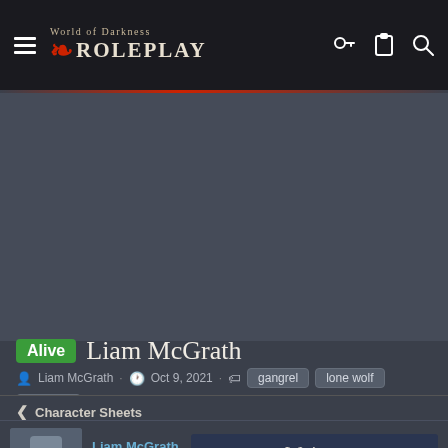World of Darkness ROLEPLAY
[Figure (photo): Dark grey placeholder image area for character header]
Alive  Liam McGrath
Liam McGrath · Oct 9, 2021 · gangrel  lone wolf  vampire
< Character Sheets
Liam McGrath
Top Dog
Writer